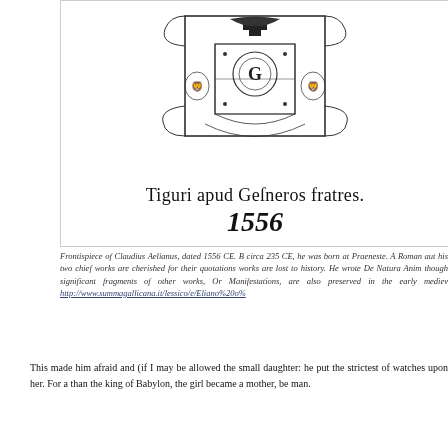[Figure (illustration): Frontispiece of Claudius Aelianus 1556 CE showing ornate heraldic emblem with publisher text 'Tiguri apud Gesneros fratres.' and year '1556']
Frontispiece of Claudius Aelianus, dated 1556 CE. B circa 235 CE, he was born at Praeneste. A Roman aut his two chief works are cherished for their quotations works are lost to history. He wrote De Natura Anim though significant fragments of other works, Or Manifestations, are also preserved in the early mediev http://www.summagallicana.it/lessico/e/Eliano%20o%
This made him afraid and (if I may be allowed the small daughter: he put the strictest of watches upon her. For a than the king of Babylon, the girl became a mother, be man.